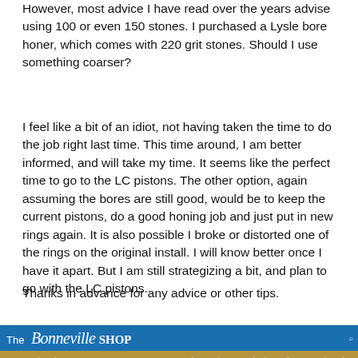However, most advice I have read over the years advise using 100 or even 150 stones. I purchased a Lysle bore honer, which comes with 220 grit stones. Should I use something coarser?
I feel like a bit of an idiot, not having taken the time to do the job right last time. This time around, I am better informed, and will take my time. It seems like the perfect time to go to the LC pistons. The other option, again assuming the bores are still good, would be to keep the current pistons, do a good honing job and just put in new rings again. It is also possible I broke or distorted one of the rings on the original install. I will know better once I have it apart. But I am still strategizing a bit, and plan to go with the LC pistons.
Thanks in advance for any advice or other tips.
[Figure (screenshot): Screenshot of The Bonneville Shop website showing a product listing for Triumph 500 T100 TR6 Pre-Unit 7:1 Compression 75mm Piston Set with Rings PN# 70-3810 E3810, priced $169.95-$189.95, with piston size selector showing +.020, and a price of $169.78 in stock. Shows store navigation bar with Home, Triumph, Norton, BSA, Japanese, Tools, Other, Tech Blog, Bikes For Sale, Clearance, Returns links.]